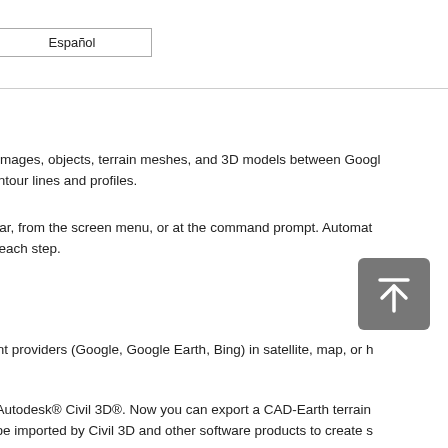Español
port images, objects, terrain meshes, and 3D models between Googl... ic contour lines and profiles.
toolbar, from the screen menu, or at the command prompt. Automat... lp in each step.
[Figure (other): Up arrow button icon, dark grey rounded square with white upward arrow and line above it]
fferent providers (Google, Google Earth, Bing) in satellite, map, or h... tion.
h to Autodesk® Civil 3D®. Now you can export a CAD-Earth terrain... can be imported by Civil 3D and other software products to create s...